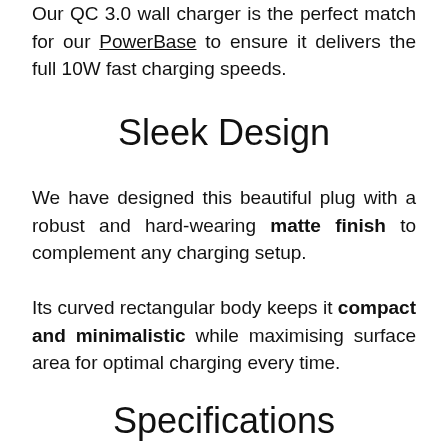Our QC 3.0 wall charger is the perfect match for our PowerBase to ensure it delivers the full 10W fast charging speeds.
Sleek Design
We have designed this beautiful plug with a robust and hard-wearing matte finish to complement any charging setup.
Its curved rectangular body keeps it compact and minimalistic while maximising surface area for optimal charging every time.
Specifications